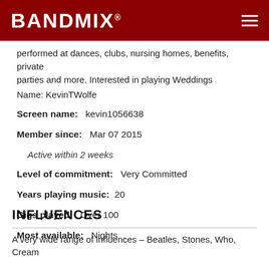BANDMIX®
performed at dances, clubs, nursing homes, benefits, private parties and more. Interested in playing Weddings
Name: KevinTWolfe
Screen name:   kevin1056638
Member since:   Mar 07 2015
Active within 2 weeks
Level of commitment:   Very Committed
Years playing music:   20
Gigs played:   Over 100
Most available:   Nights
INFLUENCES
A very wide range of influences – Beatles, Stones, Who, Cream